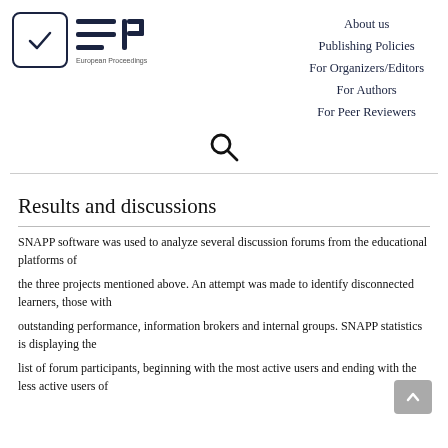[Figure (logo): European Proceedings logo with checkmark in rounded square and EP text with horizontal lines]
About us
Publishing Policies
For Organizers/Editors
For Authors
For Peer Reviewers
[Figure (other): Search icon (magnifying glass)]
Results and discussions
SNAPP software was used to analyze several discussion forums from the educational platforms of
the three projects mentioned above. An attempt was made to identify disconnected learners, those with
outstanding performance, information brokers and internal groups. SNAPP statistics is displaying the
list of forum participants, beginning with the most active users and ending with the less active users of